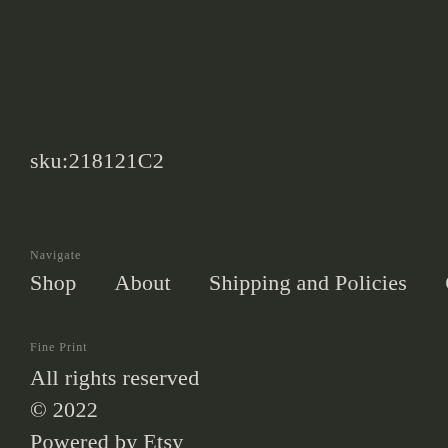sku:218121C2
Navigate
Shop    About    Shipping and Policies    Contact Us
Fine Print
All rights reserved
© 2022
Powered by Etsy